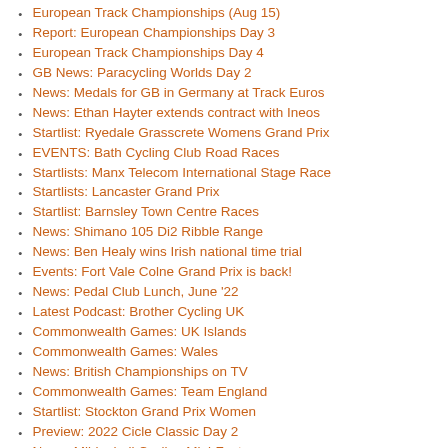European Track Championships (Aug 15)
Report: European Championships Day 3
European Track Championships Day 4
GB News: Paracycling Worlds Day 2
News: Medals for GB in Germany at Track Euros
News: Ethan Hayter extends contract with Ineos
Startlist: Ryedale Grasscrete Womens Grand Prix
EVENTS: Bath Cycling Club Road Races
Startlists: Manx Telecom International Stage Race
Startlists: Lancaster Grand Prix
Startlist: Barnsley Town Centre Races
News: Shimano 105 Di2 Ribble Range
News: Ben Healy wins Irish national time trial
Events: Fort Vale Colne Grand Prix is back!
News: Pedal Club Lunch, June '22
Latest Podcast: Brother Cycling UK
Commonwealth Games: UK Islands
Commonwealth Games: Wales
News: British Championships on TV
Commonwealth Games: Team England
Startlist: Stockton Grand Prix Women
Preview: 2022 Cicle Classic Day 2
News: Mildenhall Cycling Mini-Fest
News: Scottish CX Champs for Dundee
Events: Bath CC Women's Road Race